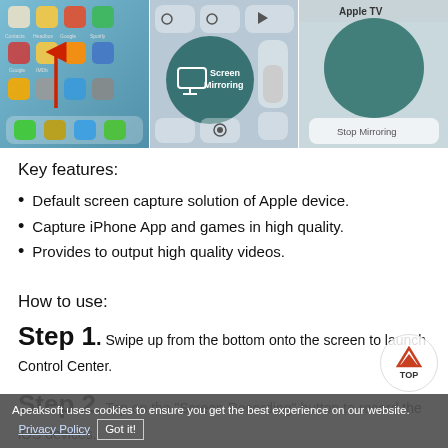[Figure (screenshot): Three iPhone screenshots showing screen mirroring steps: (1) iPhone home screen with upward swipe arrow, (2) iOS Control Center with Screen Mirroring button highlighted in dark teal, (3) Apple TV screen mirroring confirmation with Stop Mirroring button]
Key features:
Default screen capture solution of Apple device.
Capture iPhone App and games in high quality.
Provides to output high quality videos.
How to use:
Step 1. Swipe up from the bottom onto the screen to launch Control Center.
Step 2. Tap on the "Screen Recording" button to record the iOS devices.
Apeaksoft uses cookies to ensure you get the best experience on our website. Privacy Policy  Got it!